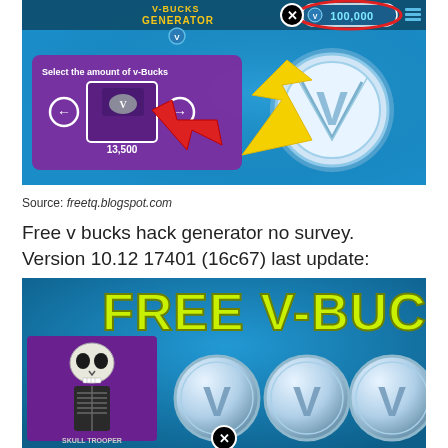[Figure (screenshot): Screenshot of a V-Bucks Generator interface showing a purple panel with 'Select the amount of v-Bucks' text, 13,500 v-bucks selected, yellow arrow pointing to 100,000 V-Bucks balance indicator, red arrow pointing to the selection, and a large silver V-Bucks coin on the right. Blue background.]
Source: freetq.blogspot.com
Free v bucks hack generator no survey. Version 10.12 17401 (16c67) last update:
[Figure (screenshot): Screenshot showing 'FREE V-BUCKS' text in large yellow-green bold letters on a blue background, with a skull trooper character on the left and three large silver V coin icons on the right, labeled 'SKULL TROOPER'. A close button (X in circle) is at the bottom center.]